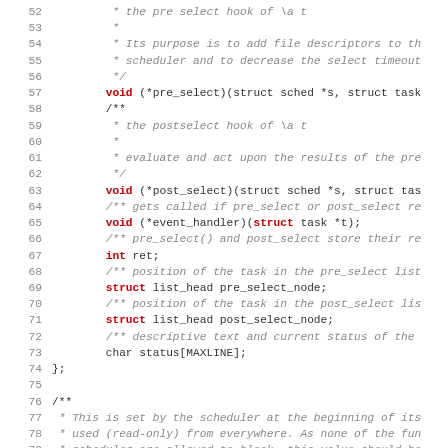Source code listing lines 52-83, showing C struct definition with pre_select, post_select, event_handler fields and extern declaration of struct timeval *now